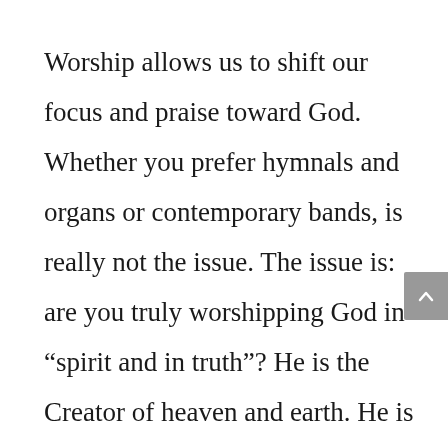Worship allows us to shift our focus and praise toward God. Whether you prefer hymnals and organs or contemporary bands, is really not the issue. The issue is: are you truly worshipping God in “spirit and in truth”? He is the Creator of heaven and earth. He is not a cosmic force,